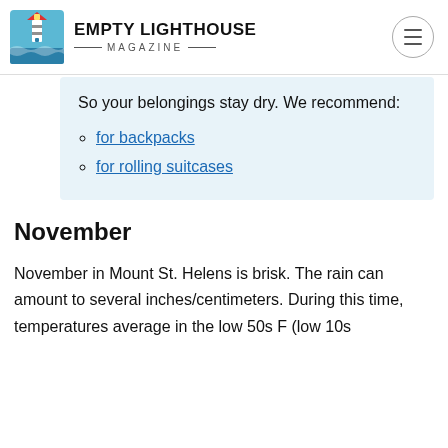EMPTY LIGHTHOUSE MAGAZINE
So your belongings stay dry. We recommend:
for backpacks
for rolling suitcases
November
November in Mount St. Helens is brisk. The rain can amount to several inches/centimeters. During this time, temperatures average in the low 50s F (low 10s